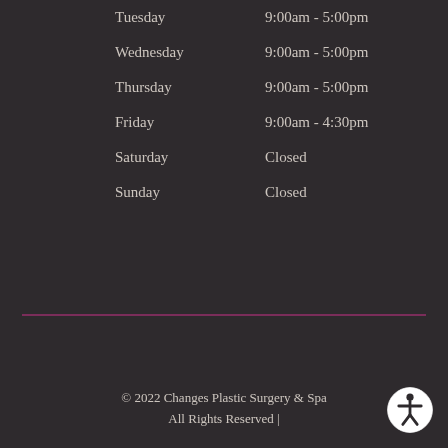| Day | Hours |
| --- | --- |
| Tuesday | 9:00am - 5:00pm |
| Wednesday | 9:00am - 5:00pm |
| Thursday | 9:00am - 5:00pm |
| Friday | 9:00am - 4:30pm |
| Saturday | Closed |
| Sunday | Closed |
© 2022 Changes Plastic Surgery & Spa All Rights Reserved |